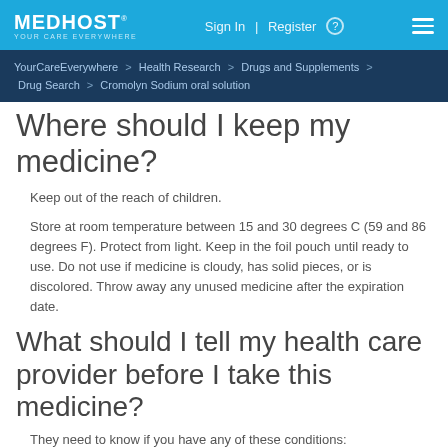MEDHOST YOURCARE EVERYWHERE | Sign In | Register
YourCareEverywhere > Health Research > Drugs and Supplements > Drug Search > Cromolyn Sodium oral solution
Where should I keep my medicine?
Keep out of the reach of children.
Store at room temperature between 15 and 30 degrees C (59 and 86 degrees F). Protect from light. Keep in the foil pouch until ready to use. Do not use if medicine is cloudy, has solid pieces, or is discolored. Throw away any unused medicine after the expiration date.
What should I tell my health care provider before I take this medicine?
They need to know if you have any of these conditions:
liver disease